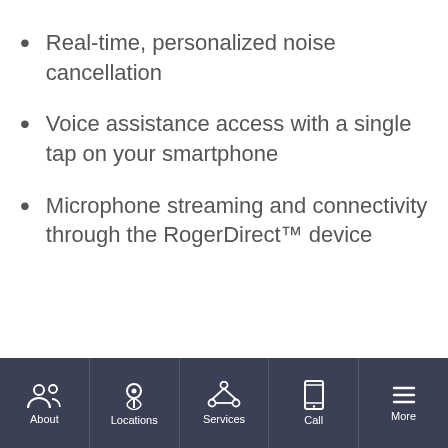Real-time, personalized noise cancellation
Voice assistance access with a single tap on your smartphone
Microphone streaming and connectivity through the RogerDirect™ device
About | Locations | Services | Call | More